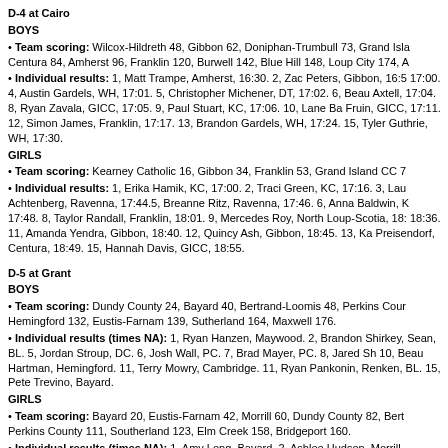D-4 at Cairo
BOYS
• Team scoring: Wilcox-Hildreth 48, Gibbon 62, Doniphan-Trumbull 73, Grand Isla Centura 84, Amherst 96, Franklin 120, Burwell 142, Blue Hill 148, Loup City 174, A
• Individual results: 1, Matt Trampe, Amherst, 16:30. 2, Zac Peters, Gibbon, 16:5 17:00. 4, Austin Gardels, WH, 17:01. 5, Christopher Michener, DT, 17:02. 6, Beau Axtell, 17:04. 8, Ryan Zavala, GICC, 17:05. 9, Paul Stuart, KC, 17:06. 10, Lane Ba Fruin, GICC, 17:11. 12, Simon James, Franklin, 17:17. 13, Brandon Gardels, WH, 17:24. 15, Tyler Guthrie, WH, 17:30.
GIRLS
• Team scoring: Kearney Catholic 16, Gibbon 34, Franklin 53, Grand Island CC 7
• Individual results: 1, Erika Hamik, KC, 17:00. 2, Traci Green, KC, 17:16. 3, Lau Achtenberg, Ravenna, 17:44.5, Breanne Ritz, Ravenna, 17:46. 6, Anna Baldwin, K 17:48. 8, Taylor Randall, Franklin, 18:01. 9, Mercedes Roy, North Loup-Scotia, 18: 18:36. 11, Amanda Yendra, Gibbon, 18:40. 12, Quincy Ash, Gibbon, 18:45. 13, Ka Preisendorf, Centura, 18:49. 15, Hannah Davis, GICC, 18:55.
D-5 at Grant
BOYS
• Team scoring: Dundy County 24, Bayard 40, Bertrand-Loomis 48, Perkins Cour Hemingford 132, Eustis-Farnam 139, Sutherland 164, Maxwell 176.
• Individual results (times NA): 1, Ryan Hanzen, Maywood. 2, Brandon Shirkey, Sean, BL. 5, Jordan Stroup, DC. 6, Josh Wall, PC. 7, Brad Mayer, PC. 8, Jared Sh 10, Beau Hartman, Hemingford. 11, Terry Mowry, Cambridge. 11, Ryan Pankonin, Renken, BL. 15, Pete Trevino, Bayard.
GIRLS
• Team scoring: Bayard 20, Eustis-Farnam 42, Morrill 60, Dundy County 82, Bert Perkins County 111, Southerland 123, Elm Creek 158, Bridgeport 160.
• Individual results (times NA): 1, Amy Long, Bayard. 2, Ashlee Hudson, Morrill. Hamilton, Maxwell. 5, Tasha Boon, DC. 6, Jaclyn Walker, Bayard. 7, Layne McCon Johanna Nutt, E-F. 10, Taylor Martin, EF. 11, Toni Hulinsky, Bayard. 12, Karissa Au Bartruff Tatiana, BL. 15, Elisa Carlson, PC.